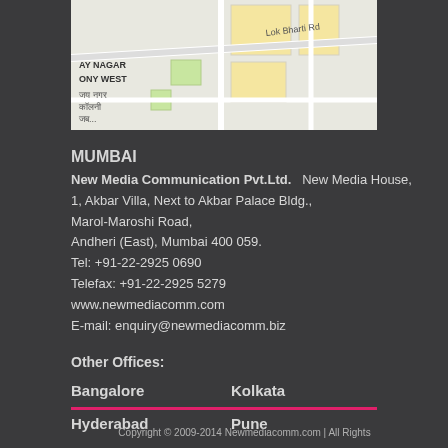[Figure (map): Street map showing Lok Bharti Rd, AY NAGAR, ONY WEST, jay nagar colony area]
MUMBAI
New Media Communication Pvt.Ltd.   New Media House,
1, Akbar Villa, Next to Akbar Palace Bldg.,
Marol-Maroshi Road,
Andheri (East), Mumbai 400 059.
Tel: +91-22-2925 0690
Telefax: +91-22-2925 5279
www.newmediacomm.com
E-mail: enquiry@newmediacomm.biz
Other Offices:
Bangalore    Kolkata
Hyderabad    Pune
Australia    Canada
London
Copyright © 2009-2014 Newmediacomm.com | All Rights